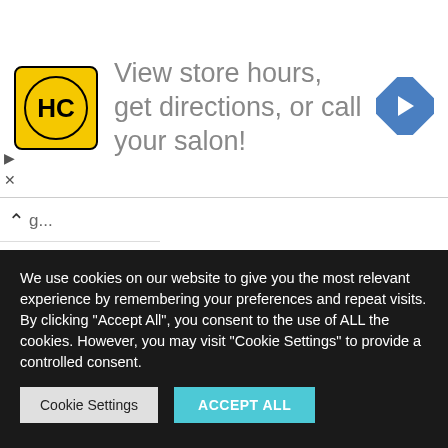[Figure (logo): HC salon logo with yellow background and navigation arrow icon, with ad text 'View store hours, get directions, or call your salon!']
Filed Under: Strategic Management
Tagged With: Conditions for Good Performance Management, Objectives of Performance Management, Performance Management Process
We use cookies on our website to give you the most relevant experience by remembering your preferences and repeat visits. By clicking "Accept All", you consent to the use of ALL the cookies. However, you may visit "Cookie Settings" to provide a controlled consent.
Cookie Settings   ACCEPT ALL